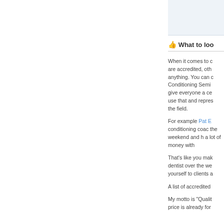👍 What to look
When it comes to c are accredited, oth anything. You can c Conditioning Semi give everyone a ce use that and repres the field.
For example Pat E conditioning coac the weekend and h a lot of money with
That's like you mak dentist over the we yourself to clients a
A list of accredited
My motto is "Qualit price is already for